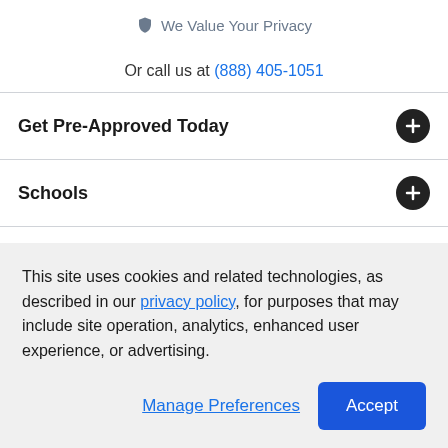We Value Your Privacy
Or call us at (888) 405-1051
Get Pre-Approved Today
Schools
Price & Sales History
Tax History
This site uses cookies and related technologies, as described in our privacy policy, for purposes that may include site operation, analytics, enhanced user experience, or advertising.
Manage Preferences  Accept